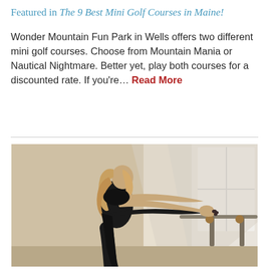Featured in The 9 Best Mini Golf Courses in Maine!
Wonder Mountain Fun Park in Wells offers two different mini golf courses. Choose from Mountain Mania or Nautical Nightmare. Better yet, play both courses for a discounted rate. If you're… Read More
[Figure (photo): Woman in black athletic wear performing a barre stretch, reaching forward to hold her raised leg horizontally at a ballet barre, in a bright studio with large white-framed windows]